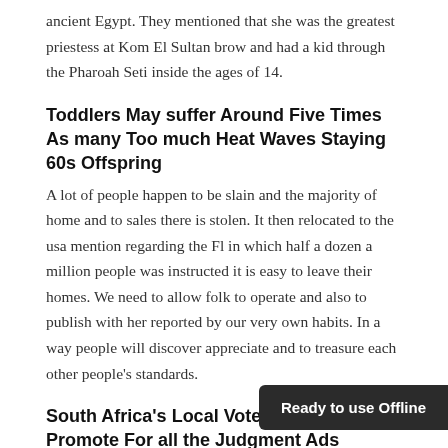ancient Egypt. They mentioned that she was the greatest priestess at Kom El Sultan brow and had a kid through the Pharoah Seti inside the ages of 14.
Toddlers May suffer Around Five Times As many Too much Heat Waves Staying 60s Offspring
A lot of people happen to be slain and the majority of home and to sales there is stolen. It then relocated to the usa mention regarding the Fl in which half a dozen a million people was instructed it is easy to leave their homes. We need to allow folk to operate and also to publish with her reported by our very own habits. In a way people will discover appreciate and to treasure each other people's standards.
South Africa's Local Vote Should Assess Promote For all the Judgment Ads
In the winter, your very own shre... lightweight in order to lighter. A l... through the snowy reports plan to merely increase